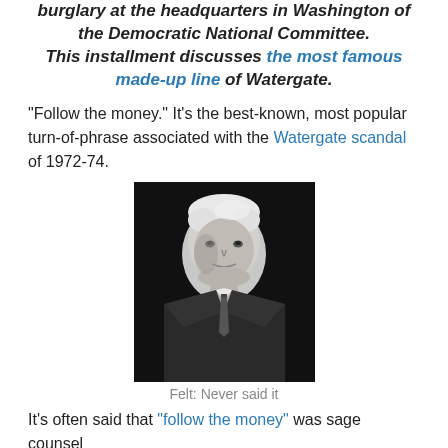burglary at the headquarters in Washington of the Democratic National Committee. This installment discusses the most famous made-up line of Watergate.
“Follow the money.” It’s the best-known, most popular turn-of-phrase associated with the Watergate scandal of 1972-74.
[Figure (photo): Black and white portrait photograph of a man in a suit and tie, short white/grey hair, looking slightly to the side. Associated with 'Deep Throat' Mark Felt.]
Felt: Never said it
It’s often said that “follow the money” was sage counsel